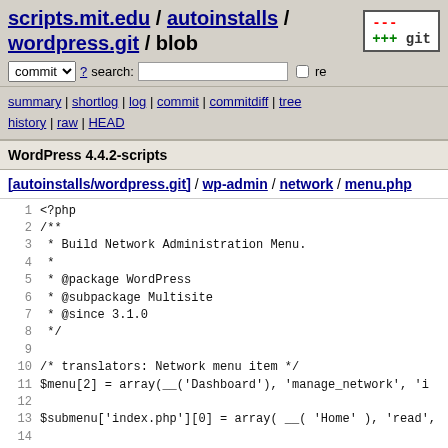scripts.mit.edu / autoinstalls / wordpress.git / blob
commit ? search: re
summary | shortlog | log | commit | commitdiff | tree history | raw | HEAD
WordPress 4.4.2-scripts
[autoinstalls/wordpress.git] / wp-admin / network / menu.php
1  <?php
2  /**
3   * Build Network Administration Menu.
4   *
5   * @package WordPress
6   * @subpackage Multisite
7   * @since 3.1.0
8   */
9  
10 /* translators: Network menu item */
11 $menu[2] = array(__('Dashboard'), 'manage_network', 'i
12 
13 $submenu['index.php'][0] = array( __( 'Home' ), 'read',
14 
15 $update_data = wp_get_update_data();
16 if ( $update_data['counts']['total'] ) {
17         $submenu['index.php'][10] = array( sprintf( __(
18 } else {
19         $submenu['index.php'][10] = array( ( 'Updates